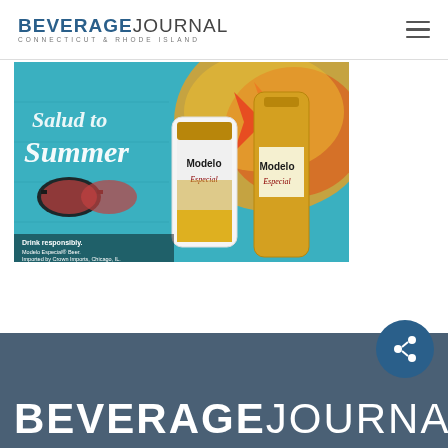BEVERAGE JOURNAL — CONNECTICUT & RHODE ISLAND
[Figure (photo): Modelo Especial beer advertisement showing a can and bottle against a colorful graffiti mural background with the text 'Salud to Summer'. Small print reads: Drink responsibly. Modelo Especial® Beer. Imported by Crown Imports, Chicago, IL.]
[Figure (logo): Beverage Journal logo in large white bold text on a dark blue-grey footer band reading BEVERAGE JOURNAL]